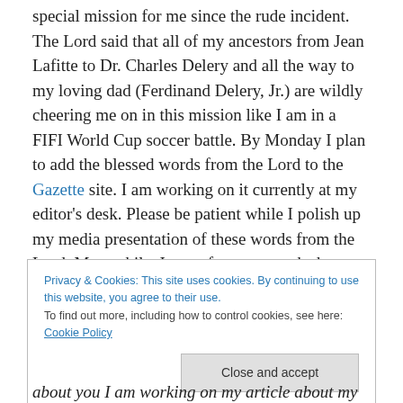special mission for me since the rude incident. The Lord said that all of my ancestors from Jean Lafitte to Dr. Charles Delery and all the way to my loving dad (Ferdinand Delery, Jr.) are wildly cheering me on in this mission like I am in a FIFI World Cup soccer battle. By Monday I plan to add the blessed words from the Lord to the Gazette site. I am working on it currently at my editor's desk. Please be patient while I polish up my media presentation of these words from the Lord. Meanwhile, I put a few paragraphs here below just to preview to you what I am writing about.
Privacy & Cookies: This site uses cookies. By continuing to use this website, you agree to their use. To find out more, including how to control cookies, see here: Cookie Policy
about you I am working on my article about my getting